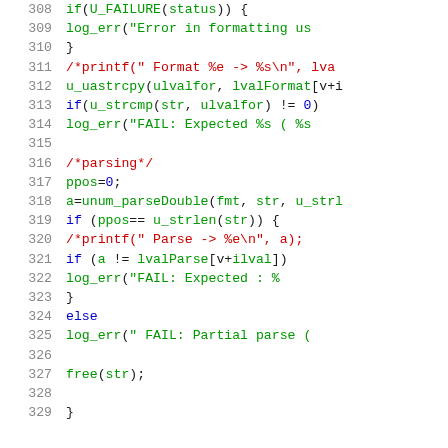[Figure (screenshot): Source code snippet in C showing lines 308-329, with syntax highlighting: line numbers in gray, keywords in blue, function calls and strings in green, comments in red.]